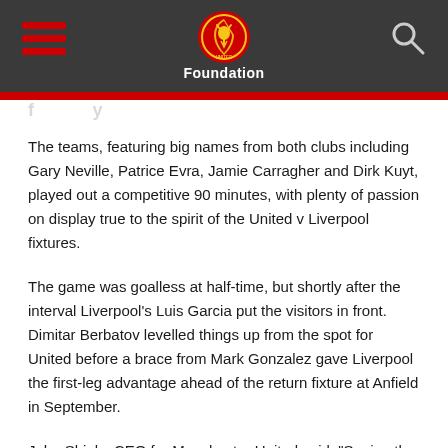Foundation
The teams, featuring big names from both clubs including Gary Neville, Patrice Evra, Jamie Carragher and Dirk Kuyt, played out a competitive 90 minutes, with plenty of passion on display true to the spirit of the United v Liverpool fixtures.
The game was goalless at half-time, but shortly after the interval Liverpool’s Luis Garcia put the visitors in front. Dimitar Berbatov levelled things up from the spot for United before a brace from Mark Gonzalez gave Liverpool the first-leg advantage ahead of the return fixture at Anfield in September.
John Shiels, CEO for Manchester United said: “Seeing the fans turn out here today in such numbers shows just how important the